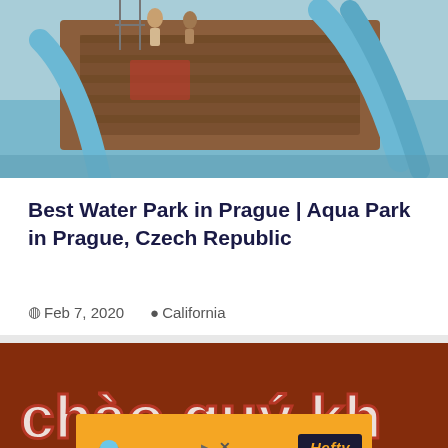[Figure (photo): Water park slide structure with blue slides and wooden frame, people visible in background near water]
Best Water Park in Prague | Aqua Park in Prague, Czech Republic
Feb 7, 2020   California
[Figure (photo): Brown/red background with colorful text or signage partially visible, with an orange advertisement banner for Hefty at bottom]